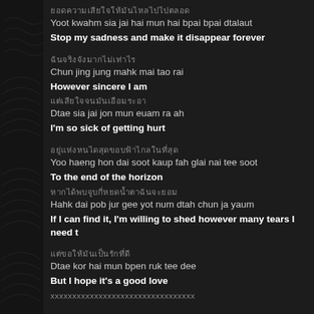ยอดความเสียใจให้มันไหลไปไปตลอด
Yoot kwahm sia jai hai mun hai bpai bpai dtalaut
Stop my sadness and make it disappear forever
ฉันจริงจังมากไม่เท่าไร
Chun jing jung mahk mai tao rai
However sincere I am
แต่เสียใจจนมันเอือมระอา
Dtae sia jai jon mun euam ra ah
I'm so sick of getting hurt
อยู่แห่งหนไดสุดขอบฟ้าไกลในที่สุด
Yoo haeng hon dai soot kaup fah glai nai tee soot
To the end of the horizon
หากได้พบจูบกี่หยดน้ำตาฉันจะยอม
Hahk dai pob jur gee yot num dtah chun ja yaum
If I can find it, I'm willing to shed however many tears I need t
แต่ขอให้มันเป็นรักที่ดี
Dtae kor hai mun bpen ruk tee dee
But I hope it's a good love